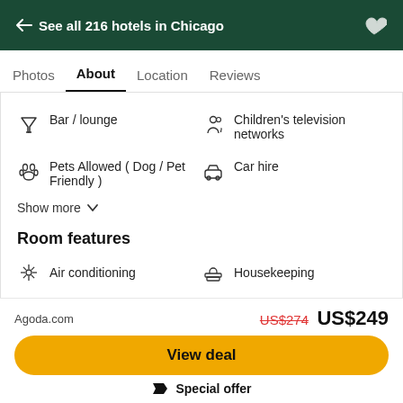← See all 216 hotels in Chicago
Photos  About  Location  Reviews
Bar / lounge
Children's television networks
Pets Allowed (Dog / Pet Friendly)
Car hire
Show more
Room features
Air conditioning
Housekeeping
Agoda.com  US$274  US$249
View deal
Special offer